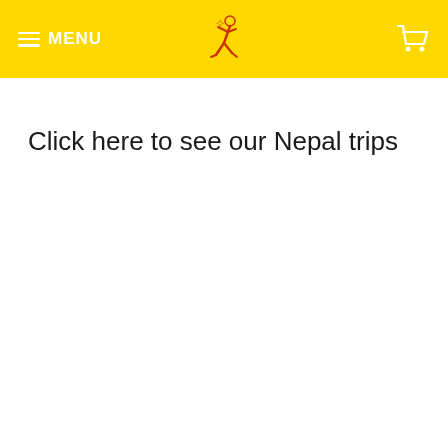MENU
Click here to see our Nepal trips